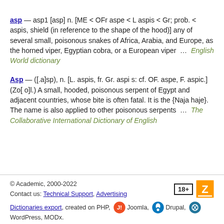asp — asp1 [asp] n. [ME < OFr aspe < L aspis < Gr; prob. < aspis, shield (in reference to the shape of the hood)] any of several small, poisonous snakes of Africa, Arabia, and Europe, as the horned viper, Egyptian cobra, or a European viper … English World dictionary
Asp — ([.a]sp), n. [L. aspis, fr. Gr. aspi s: cf. OF. aspe, F. aspic.] (Zo[ o]l.) A small, hooded, poisonous serpent of Egypt and adjacent countries, whose bite is often fatal. It is the {Naja haje}. The name is also applied to other poisonous serpents … The Collaborative International Dictionary of English
© Academic, 2000-2022
Contact us: Technical Support, Advertising
Dictionaries export, created on PHP, Joomla, Drupal, WordPress, MODx.